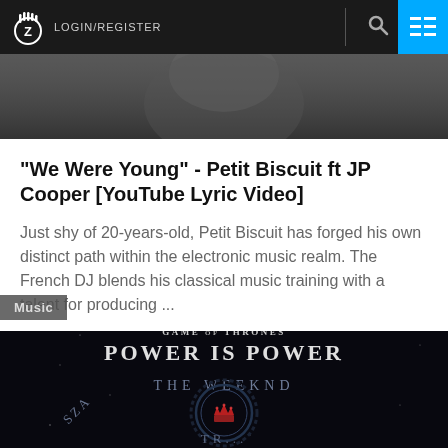LOGIN/REGISTER
[Figure (photo): Black and white photo strip at top of page, partially visible]
"We Were Young" - Petit Biscuit ft JP Cooper [YouTube Lyric Video]
Just shy of 20-years-old, Petit Biscuit has forged his own distinct path within the electronic music realm. The French DJ blends his classical music training with a talent for producing ...
[Figure (photo): Dark space-themed album art for 'Power Is Power' Game of Thrones inspired track featuring SZA, The Weeknd. Shows circular emblem with crown on dark starfield background.]